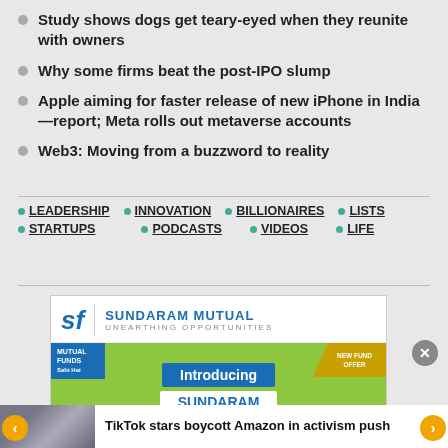Study shows dogs get teary-eyed when they reunite with owners
Why some firms beat the post-IPO slump
Apple aiming for faster release of new iPhone in India—report; Meta rolls out metaverse accounts
Web3: Moving from a buzzword to reality
LEADERSHIP • INNOVATION • BILLIONAIRES • LISTS • STARTUPS • PODCASTS • VIDEOS • LIFE
[Figure (screenshot): Sundaram Mutual Fund advertisement showing logo, 'Introducing SUNDARAM Flexi Cap Fund' with green background and NEW FUND OFFER banner]
TikTok stars boycott Amazon in activism push